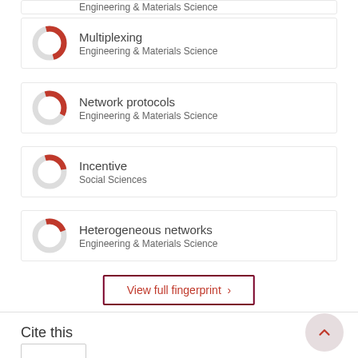Multiplexing — Engineering & Materials Science
Network protocols — Engineering & Materials Science
Incentive — Social Sciences
Heterogeneous networks — Engineering & Materials Science
View full fingerprint >
Cite this